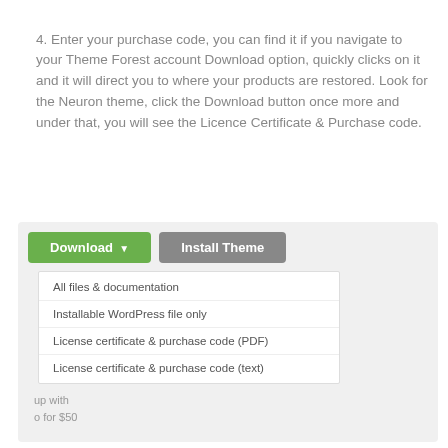4. Enter your purchase code, you can find it if you navigate to your Theme Forest account Download option, quickly clicks on it and it will direct you to where your products are restored. Look for the Neuron theme, click the Download button once more and under that, you will see the Licence Certificate & Purchase code.
[Figure (screenshot): Screenshot showing a Theme Forest download dropdown menu with a green Download button, a grey Install Theme button, and dropdown options: All files & documentation, Installable WordPress file only, License certificate & purchase code (PDF), License certificate & purchase code (text). A partial right panel shows text 'up with o for $50'.]